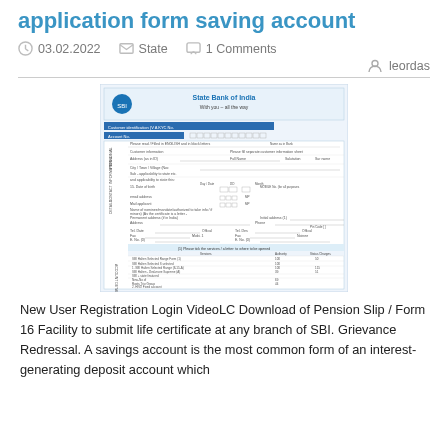application form saving account
03.02.2022   State   1 Comments
leordas
[Figure (other): Scanned image of State Bank of India savings account application form showing multiple sections including personal information, account details, and type of account to be opened fields.]
New User Registration Login VideoLC Download of Pension Slip / Form 16 Facility to submit life certificate at any branch of SBI. Grievance Redressal. A savings account is the most common form of an interest-generating deposit account which